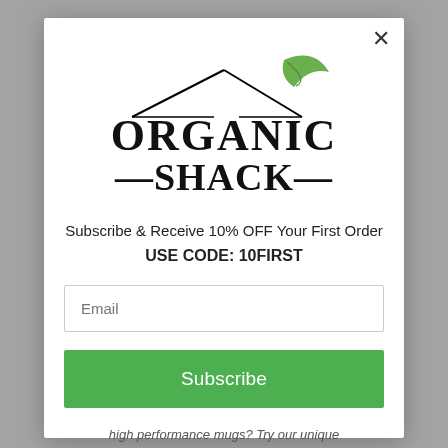[Figure (logo): Organic Shack logo with house/roof line graphic and green leaf, bold serif text reading ORGANIC SHACK with decorative dashes]
Subscribe & Receive 10% OFF Your First Order
USE CODE: 10FIRST
Email
Subscribe
high performance mugs? Try our unique